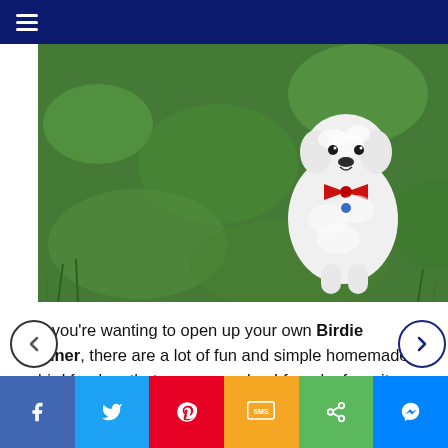≡ (navigation menu)
[Figure (photo): A small white fluffy dog wearing a red bow tie, standing on green grass, looking at the camera.]
If you're wanting to open up your own Birdie Diner, there are a lot of fun and simple homemade bird feeders that you can make. I found a few sites that offer instructions on how to make them:
[Figure (infographic): Social media share bar with Facebook, Twitter, Pinterest, SMS, Share, and Messenger buttons at the bottom of the page.]